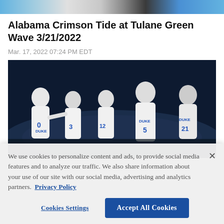[Figure (photo): Top cropped image strip showing basketball players and arena, partial view]
Alabama Crimson Tide at Tulane Green Wave 3/21/2022
Mar. 17, 2022 07:24 PM EDT
[Figure (photo): Duke Blue Devils basketball players in white jerseys (numbers 0, 3, 12, 5, 21) celebrating on court in darkened arena]
We use cookies to personalize content and ads, to provide social media features and to analyze our traffic. We also share information about your use of our site with our social media, advertising and analytics partners. Privacy Policy
Cookies Settings    Accept All Cookies